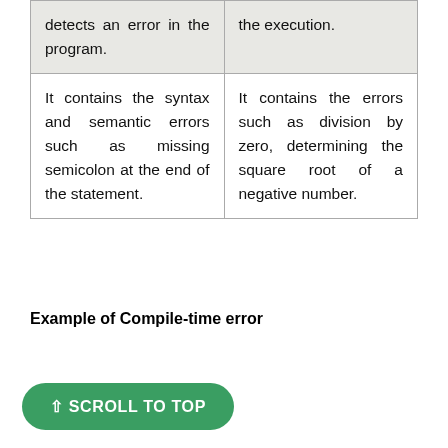| detects an error in the program. | the execution. |
| It contains the syntax and semantic errors such as missing semicolon at the end of the statement. | It contains the errors such as division by zero, determining the square root of a negative number. |
Example of Compile-time error
⇧ SCROLL TO TOP